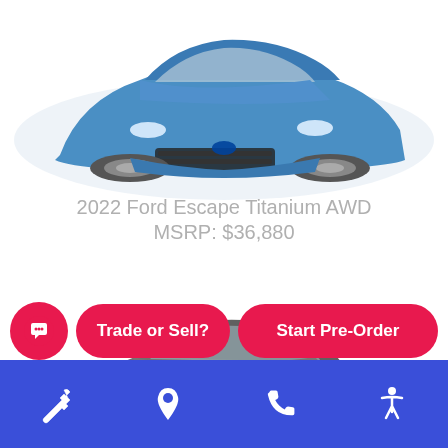[Figure (photo): Blue Ford Escape SUV, front three-quarter view, partially cropped at top]
2022 Ford Escape Titanium AWD
MSRP: $36,880
[Figure (photo): Gray Ford Escape SUV, front three-quarter view]
Trade or Sell?
Start Pre-Order
Navigation bar with wrench, location pin, phone, and accessibility icons